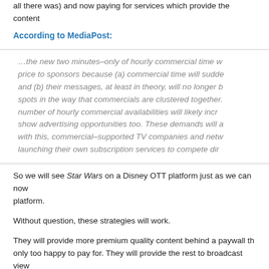all there was) and now paying for services which provide the content
According to MediaPost:
…the new two minutes–only of hourly commercial time w price to sponsors because (a) commercial time will sudde and (b) their messages, at least in theory, will no longer b spots in the way that commercials are clustered together. number of hourly commercial availabilities will likely incr show advertising opportunities too. These demands will a with this, commercial–supported TV companies and netw launching their own subscription services to compete dir
So we will see Star Wars on a Disney OTT platform just as we can now platform.
Without question, these strategies will work.
They will provide more premium quality content behind a paywall th only too happy to pay for. They will provide the rest to broadcast view messages are either integrated into the programming directly or sh such that their value is elevated significantly.